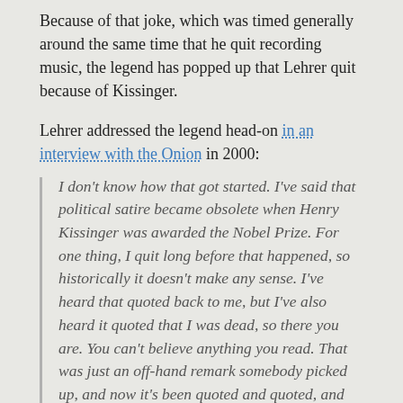Because of that joke, which was timed generally around the same time that he quit recording music, the legend has popped up that Lehrer quit because of Kissinger.
Lehrer addressed the legend head-on in an interview with the Onion in 2000:
I don't know how that got started. I've said that political satire became obsolete when Henry Kissinger was awarded the Nobel Prize. For one thing, I quit long before that happened, so historically it doesn't make any sense. I've heard that quoted back to me, but I've also heard it quoted that I was dead, so there you are. You can't believe anything you read. That was just an off-hand remark somebody picked up, and now it's been quoted and quoted, and therefore